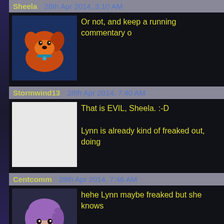Sheela   28th Apr 2014, 3:10 AM
Or not, and keep a running commentary o
Stormwind13   28th Apr 2014, 7:40 AM
That is EVIL, Sheela. :-D
Lynn is already kind of freaked out, doing
Centcomm   28th Apr 2014, 7:46 AM
hehe Lynn maybe freaked but she knows
Sheela   28th Apr 2014, 8:41 AM
Heck, Lynn might join in on the commenta
It's the kinda stuff teenagers like to do.
Centcomm   28th Apr 2014, 9:14 AM